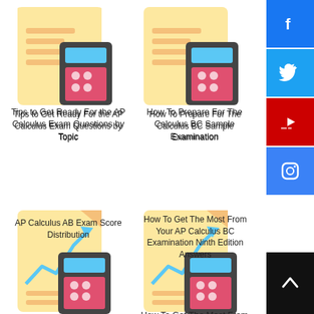[Figure (illustration): Calculator and document icon for AP Calculus exam tips article]
Tips to Get Ready For the AP Calculus Exam Questions by Topic
[Figure (illustration): Calculator and document icon for Calculus BC sample examination article]
How To Prepare For The Calculus BC Sample Examination
[Figure (illustration): Chart and calculator icon for AP Calculus AB exam score distribution article]
AP Calculus AB Exam Score Distribution
[Figure (illustration): Chart and calculator icon for AP Calculus BC Examination Ninth Edition Answers article]
How To Get The Most From Your AP Calculus BC Examination Ninth Edition Answers